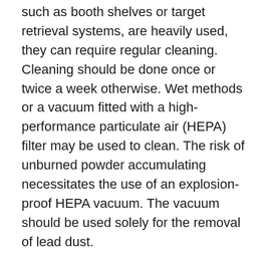such as booth shelves or target retrieval systems, are heavily used, they can require regular cleaning. Cleaning should be done once or twice a week otherwise. Wet methods or a vacuum fitted with a high-performance particulate air (HEPA) filter may be used to clean. The risk of unburned powder accumulating necessitates the use of an explosion-proof HEPA vacuum. The vacuum should be used solely for the removal of lead dust.
Cleaning personnel should be well trained and not attempt to rush the process. Dry sweeping or "blowing down" the range with compressed air should be forbidden. Brooms should not be used to clean spent shell casings ("brass") (a wooden "casino rake" can be useful). During cleanup, the ventilation system should be turned on. Personnel and shooters should be aware of the areas of the range to which they are permitted entry, as well as the areas where their clothing or skin may become contaminated. Shooters should not be permitted to proceed beyond the firing line. Individuals who might need to walk down the range should have disposable shoe coverings